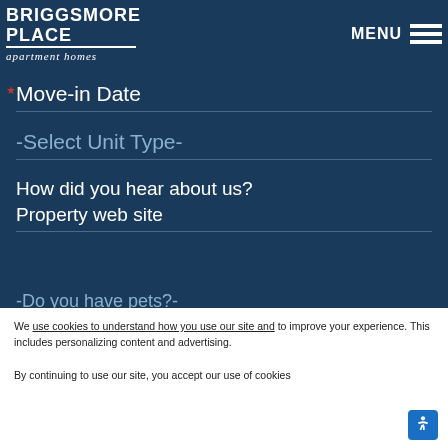Number of Occupants
[Figure (logo): Briggsmore Place apartment homes logo with white text and underline]
MENU
Move-in Date
-Select Unit Type-
How did you hear about us?
Property web site
-Do you have pets?-
We use cookies to understand how you use our site and to improve your experience. This includes personalizing content and advertising.
By continuing to use our site, you accept our use of cookies